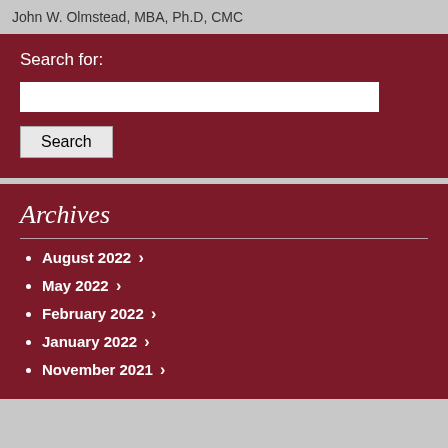John W. Olmstead, MBA, Ph.D, CMC
Search for:
August 2022
May 2022
February 2022
January 2022
November 2021